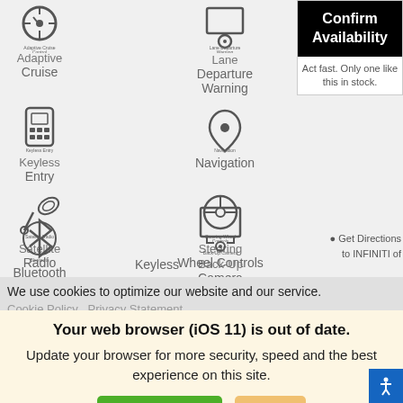[Figure (screenshot): Car features grid showing icons and labels: Adaptive Cruise Control, Lane Departure Warning, Keyless Entry, Navigation, Satellite Radio, Steering Wheel Controls, Bluetooth, Back-Up Camera, Keyless]
Confirm Availability
Act fast. Only one like this in stock.
Get Directions to INFINITI of
We use cookies to optimize our website and our service.
Cookie Policy   Privacy Statement
Your web browser (iOS 11) is out of date.
Update your browser for more security, speed and the best experience on this site.
Update browser
Ignore